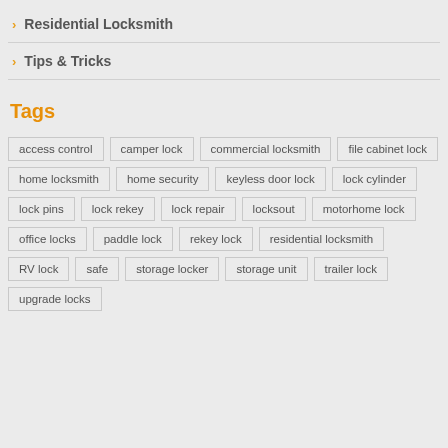Residential Locksmith
Tips & Tricks
Tags
access control
camper lock
commercial locksmith
file cabinet lock
home locksmith
home security
keyless door lock
lock cylinder
lock pins
lock rekey
lock repair
locksout
motorhome lock
office locks
paddle lock
rekey lock
residential locksmith
RV lock
safe
storage locker
storage unit
trailer lock
upgrade locks